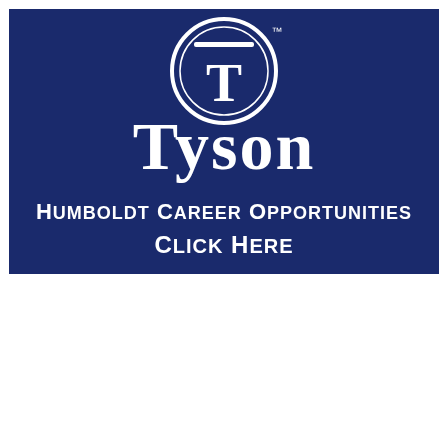[Figure (logo): Tyson Foods logo on dark navy blue background. A circular emblem with a decorative T letter at the top, the word 'Tyson' in large white serif font below it with a trademark symbol, and text reading 'Humboldt Career Opportunities Click Here' in white bold small-caps font at the bottom.]